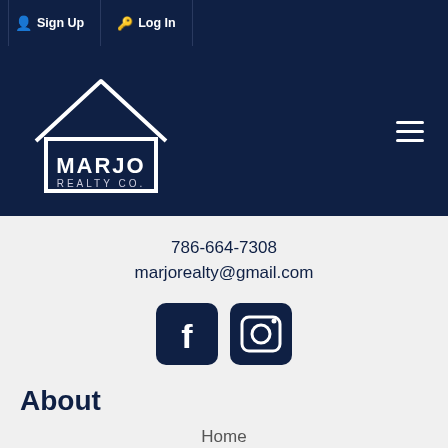Sign Up  Log In
[Figure (logo): Marjo Realty Co. logo — white house outline with MARJO REALTY CO. text on dark navy background]
786-664-7308
marjorealty@gmail.com
[Figure (illustration): Facebook and Instagram social media icon buttons, dark navy square with rounded corners]
About
Home
About
Contact